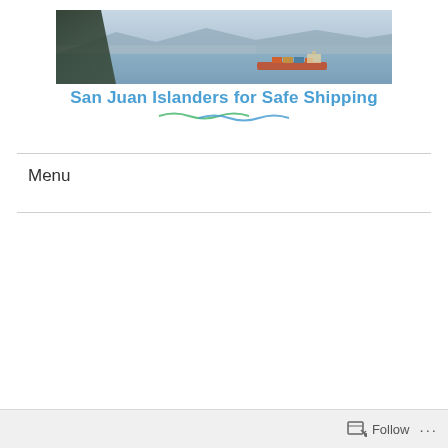[Figure (photo): Header banner photo showing a container ship on calm water with mountains in the background and conifer tree silhouette on the left. Below the photo is the site title 'San Juan Islanders for Safe Shipping' in blue text with a green/blue wave underline graphic.]
San Juan Islanders for Safe Shipping
Menu
Follow ···